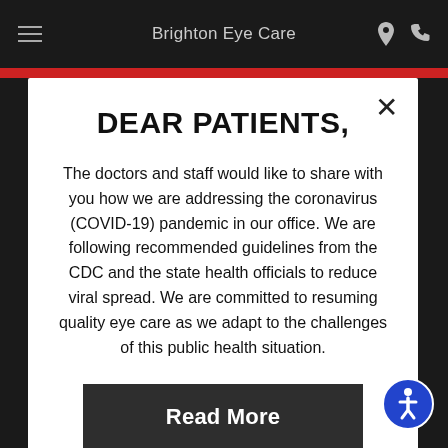Brighton Eye Care
DEAR PATIENTS,
The doctors and staff would like to share with you how we are addressing the coronavirus (COVID-19) pandemic in our office. We are following recommended guidelines from the CDC and the state health officials to reduce viral spread. We are committed to resuming quality eye care as we adapt to the challenges of this public health situation.
Read More
Close